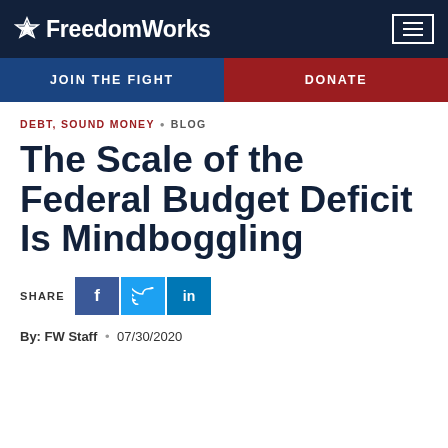FreedomWorks
JOIN THE FIGHT | DONATE
DEBT, SOUND MONEY • BLOG
The Scale of the Federal Budget Deficit Is Mindboggling
SHARE [Facebook] [Twitter] [LinkedIn]
By: FW Staff • 07/30/2020